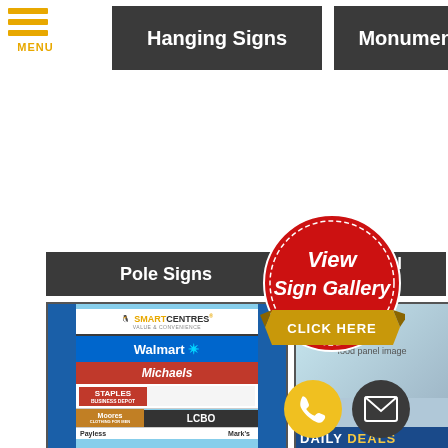[Figure (screenshot): Hamburger menu icon with three orange horizontal bars and MENU label in orange]
Hanging Signs
Monument Signs
Pole Signs
Post & Panel Signs
[Figure (photo): Pole sign showing SmartCentres, Walmart, Michaels, Staples, Moores, LCBO, Payless, Mark's tenant panels on blue background]
[Figure (photo): Post and panel sign area with daily deals food signage]
[Figure (other): Red circular seal badge saying View Sign Gallery CLICK HERE]
[Figure (other): Yellow phone button and dark email envelope button overlay]